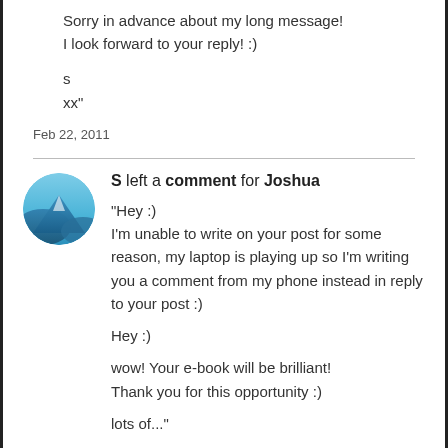Sorry in advance about my long message!
I look forward to your reply! :)
s
xx"
Feb 22, 2011
[Figure (illustration): Round avatar icon with blue gradient mountain/sky landscape]
S left a comment for Joshua
"Hey :)
I'm unable to write on your post for some reason, my laptop is playing up so I'm writing you a comment from my phone instead in reply to your post :)

Hey :)

wow! Your e-book will be brilliant!
Thank you for this opportunity :)

lots of..."
Feb 16, 2011